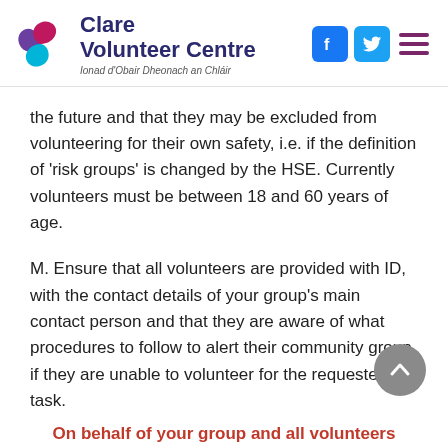Clare Volunteer Centre — Ionad d'Obair Dheonach an Chláir
the future and that they may be excluded from volunteering for their own safety, i.e. if the definition of 'risk groups' is changed by the HSE. Currently volunteers must be between 18 and 60 years of age.
M. Ensure that all volunteers are provided with ID, with the contact details of your group's main contact person and that they are aware of what procedures to follow to alert their community group if they are unable to volunteer for the requested task.
On behalf of your group and all volunteers